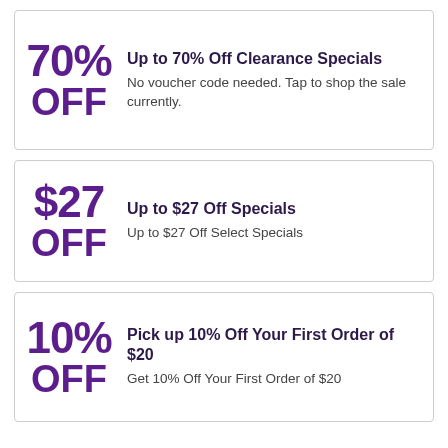70% OFF — Up to 70% Off Clearance Specials. No voucher code needed. Tap to shop the sale currently.
$27 OFF — Up to $27 Off Specials. Up to $27 Off Select Specials
10% OFF — Pick up 10% Off Your First Order of $20. Get 10% Off Your First Order of $20